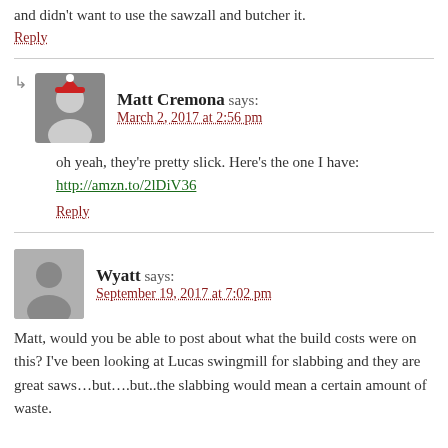and didn't want to use the sawzall and butcher it.
Reply
Matt Cremona says: March 2, 2017 at 2:56 pm
oh yeah, they're pretty slick. Here's the one I have: http://amzn.to/2lDiV36
Reply
Wyatt says: September 19, 2017 at 7:02 pm
Matt, would you be able to post about what the build costs were on this? I've been looking at Lucas swingmill for slabbing and they are great saws…but….but..the slabbing would mean a certain amount of waste.